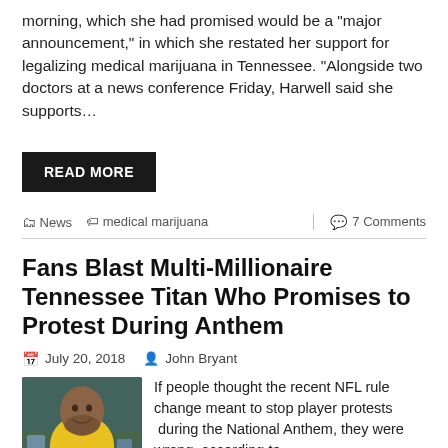morning, which she had promised would be a 'major announcement,' in which she restated her support for legalizing medical marijuana in Tennessee. "Alongside two doctors at a news conference Friday, Harwell said she supports…
READ MORE
News  medical marijuana  7 Comments
Fans Blast Multi-Millionaire Tennessee Titan Who Promises to Protest During Anthem
July 20, 2018   John Bryant
[Figure (photo): Photo of a man in a yellow shirt smiling, with football players visible in the background]
If people thought the recent NFL rule change meant to stop player protests during the National Anthem, they were wrong, according to a new report which focuses on Tennessee Titans star defensive end Jurrell Casey.